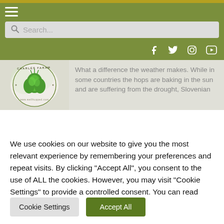[Figure (screenshot): Website screenshot of wellhopped.com with green navigation bar, hamburger menu, search bar, social media icons, Charles Faram logo in article preview, and cookie consent overlay]
We use cookies on our website to give you the most relevant experience by remembering your preferences and repeat visits. By clicking "Accept All", you consent to the use of ALL the cookies. However, you may visit "Cookie Settings" to provide a controlled consent. You can read about the cookies here
Cookie Settings
Accept All